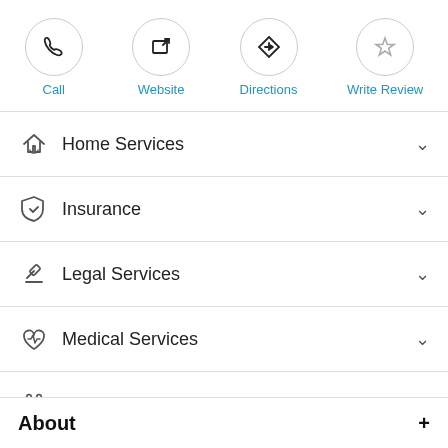[Figure (screenshot): Top action bar with four circular icon buttons: Call, Website, Directions, Write Review]
Home Services
Insurance
Legal Services
Medical Services
Pet Services
Restaurants
About